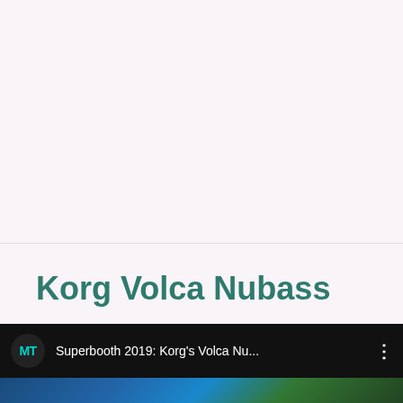Korg Volca Nubass
[Figure (screenshot): Video bar at the bottom showing MT logo, video title 'Superbooth 2019: Korg's Volca Nu...' with three-dot menu icon, and a blue video thumbnail strip at the bottom]